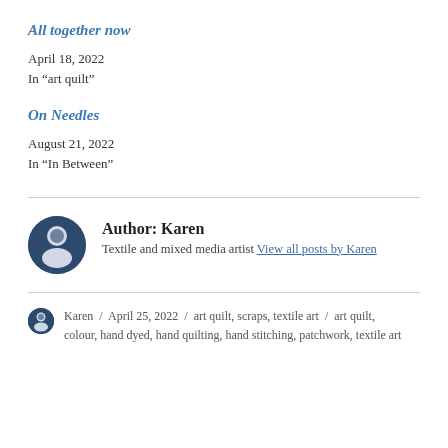All together now
April 18, 2022
In "art quilt"
On Needles
August 21, 2022
In "In Between"
Author: Karen
Textile and mixed media artist View all posts by Karen
Karen / April 25, 2022 / art quilt, scraps, textile art / art quilt, colour, hand dyed, hand quilting, hand stitching, patchwork, textile art